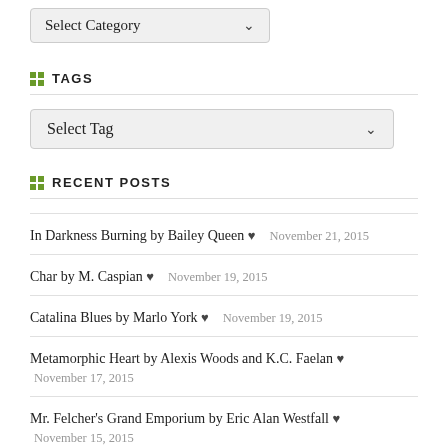[Figure (screenshot): A dropdown select box labeled 'Select Category' with a chevron arrow]
TAGS
[Figure (screenshot): A dropdown select box labeled 'Select Tag' with a chevron arrow]
RECENT POSTS
In Darkness Burning by Bailey Queen ♥  November 21, 2015
Char by M. Caspian ♥  November 19, 2015
Catalina Blues by Marlo York ♥  November 19, 2015
Metamorphic Heart by Alexis Woods and K.C. Faelan ♥  November 17, 2015
Mr. Felcher's Grand Emporium by Eric Alan Westfall ♥  November 15, 2015